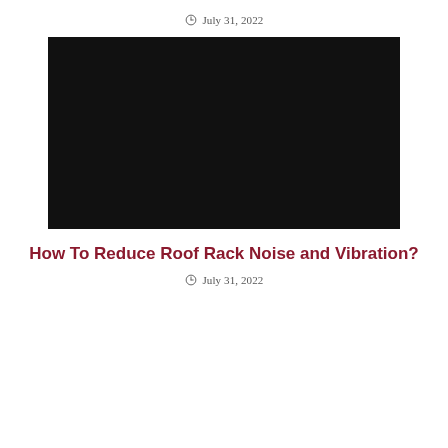July 31, 2022
[Figure (photo): Large black rectangular image, likely a dark/nighttime photo of a car roof rack]
How To Reduce Roof Rack Noise and Vibration?
July 31, 2022